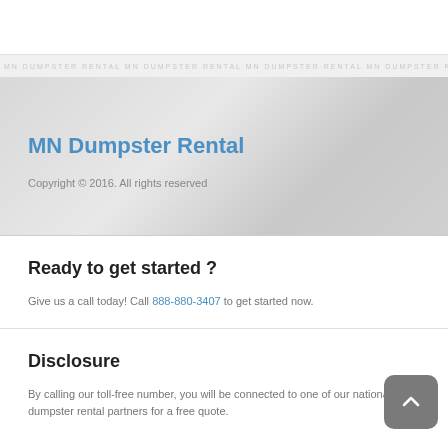[Figure (photo): White top area, part of a webpage screenshot]
[Figure (photo): Repeating faint watermark text strip in light gray]
[Figure (photo): Gray gradient banner/hero section with dumpster image in background]
MN Dumpster Rental
Copyright © 2016. All rights reserved
Ready to get started ?
Give us a call today! Call 888-880-3407 to get started now.
Disclosure
By calling our toll-free number, you will be connected to one of our national dumpster rental partners for a free quote.